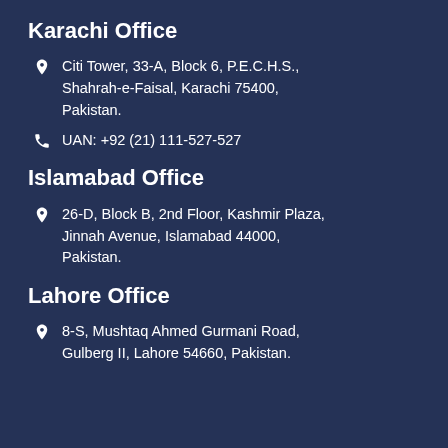Karachi Office
Citi Tower, 33-A, Block 6, P.E.C.H.S., Shahrah-e-Faisal, Karachi 75400, Pakistan.
UAN: +92 (21) 111-527-527
Islamabad Office
26-D, Block B, 2nd Floor, Kashmir Plaza, Jinnah Avenue, Islamabad 44000, Pakistan.
Lahore Office
8-S, Mushtaq Ahmed Gurmani Road, Gulberg II, Lahore 54660, Pakistan.